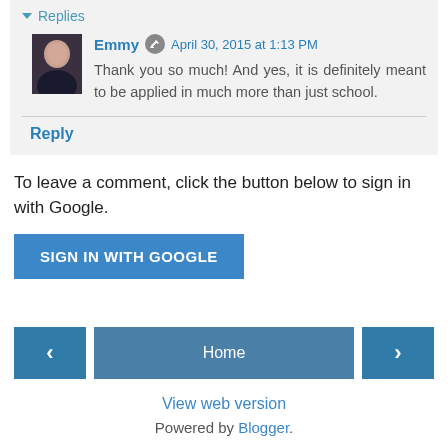Replies
Emmy · April 30, 2015 at 1:13 PM
Thank you so much! And yes, it is definitely meant to be applied in much more than just school.
Reply
To leave a comment, click the button below to sign in with Google.
SIGN IN WITH GOOGLE
Home
View web version
Powered by Blogger.